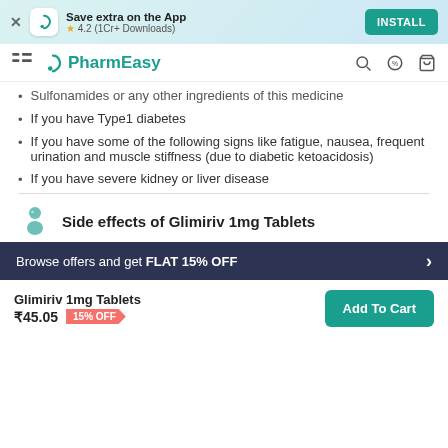[Figure (screenshot): App install banner with PharmEasy logo, rating 4.2 (1Cr+ Downloads), and INSTALL button]
PharmEasy navigation bar with menu, logo, search, offers, and cart icons
Sulfonamides or any other ingredients of this medicine
If you have Type1 diabetes
If you have some of the following signs like fatigue, nausea, frequent urination and muscle stiffness (due to diabetic ketoacidosis)
If you have severe kidney or liver disease
Side effects of Glimiriv 1mg Tablets
Browse offers and get FLAT 15% OFF
Glimiriv 1mg Tablets ₹45.05 15% OFF